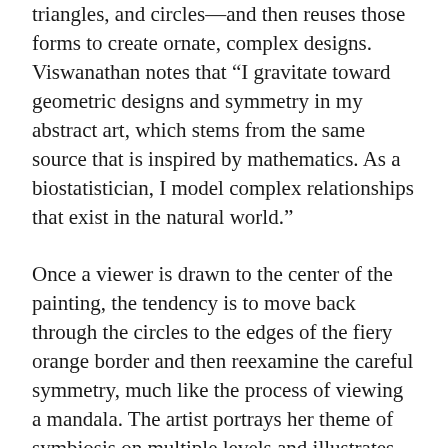triangles, and circles—and then reuses those forms to create ornate, complex designs. Viswanathan notes that “I gravitate toward geometric designs and symmetry in my abstract art, which stems from the same source that is inspired by mathematics. As a biostatistician, I model complex relationships that exist in the natural world.”
Once a viewer is drawn to the center of the painting, the tendency is to move back through the circles to the edges of the fiery orange border and then reexamine the careful symmetry, much like the process of viewing a mandala. The artist portrays her theme of symbiosis on multiple levels and illustrates the complex relationships and connections between humans and animals.
Rudolph Virchow, one of the 19th century’s principal leaders in medicine and pathology, stated that